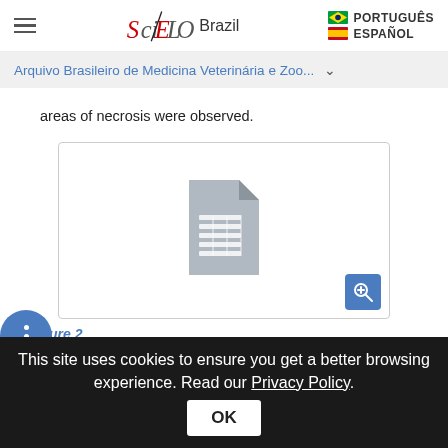SciELO Brazil | PORTUGUÊS | ESPAÑOL
Arquivo Brasileiro de Medicina Veterinária e Zoo...
areas of necrosis were observed.
[Figure (other): Placeholder image icon for Figure 2 - photomicrograph of rhabdomyosarcoma in a dog (hematoxylin and eosin, 400x)]
Figure 2
Photomicrograph of rhabdomyosarcoma in a dog (hematoxylin and eosin, 400x). Note the atypical cells
This site uses cookies to ensure you get a better browsing experience. Read our Privacy Policy.